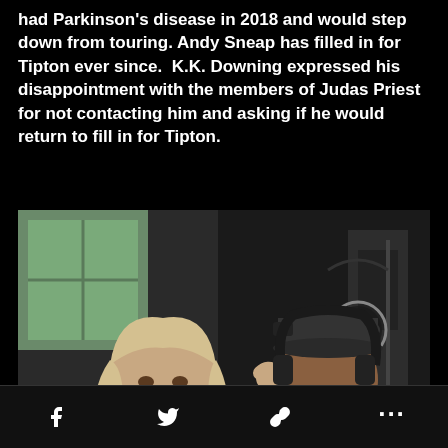had Parkinson's disease in 2018 and would step down from touring. Andy Sneap has filled in for Tipton ever since.  K.K. Downing expressed his disappointment with the members of Judas Priest for not contacting him and asking if he would return to fill in for Tipton.
[Figure (photo): Two men in a recording studio. On the left, an older man with long blonde/grey hair, smiling broadly, wearing a black shirt with headphones around his neck, making a hand gesture. On the right, a man with a dark beard wearing a black cap and headphones, facing a microphone with a pop filter, holding a guitar.]
f  [twitter bird]  [link icon]  ...